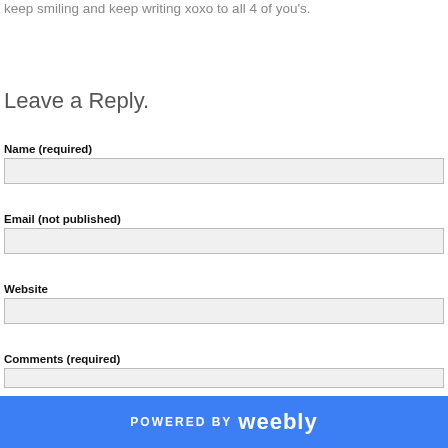keep smiling and keep writing xoxo to all 4 of you's.
Leave a Reply.
Name (required)
Email (not published)
Website
Comments (required)
POWERED BY weebly